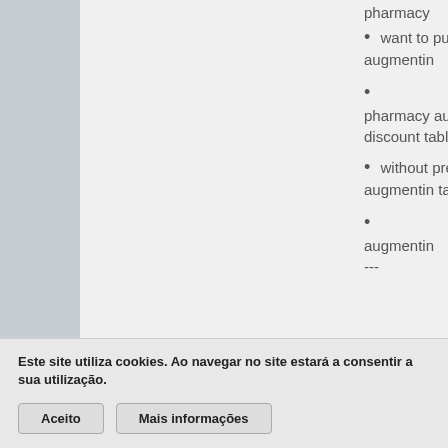pharmacy
want to purchase augmentin
pharmacy augmentin discount tablet amex
without prescription augmentin tablet
augmentin ...
Este site utiliza cookies. Ao navegar no site estará a consentir a sua utilização.